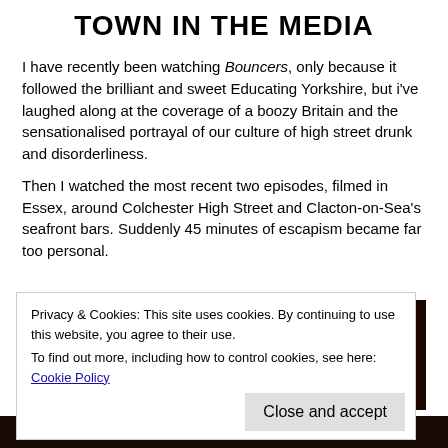TOWN IN THE MEDIA
I have recently been watching Bouncers, only because it followed the brilliant and sweet Educating Yorkshire, but i've laughed along at the coverage of a boozy Britain and the sensationalised portrayal of our culture of high street drunk and disorderliness.
Then I watched the most recent two episodes, filmed in Essex, around Colchester High Street and Clacton-on-Sea's seafront bars. Suddenly 45 minutes of escapism became far too personal.
[Figure (photo): Group of young men in a bar/nightclub setting, dimly lit with dark background]
Privacy & Cookies: This site uses cookies. By continuing to use this website, you agree to their use.
To find out more, including how to control cookies, see here: Cookie Policy
Close and accept